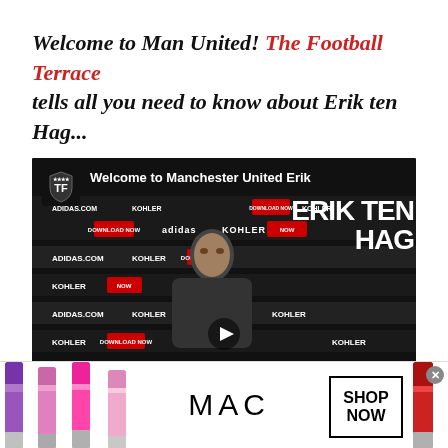Welcome to Man United! The Football Terrace tells all you need to know about Erik ten Hag...
[Figure (screenshot): Video thumbnail showing Erik ten Hag at a Manchester United press conference with sponsor backdrop (adidas, Kohler, Manchester United). Video title reads 'Welcome to Manchester United Erik'. Large text 'ERIK TEN HAG' visible on right side. Play button visible at center bottom.]
[Figure (photo): MAC cosmetics advertisement banner showing multiple lipsticks in purple, pink, and red shades. MAC logo in center, 'SHOP NOW' button in black border on the right. Close (x) button in top right corner.]